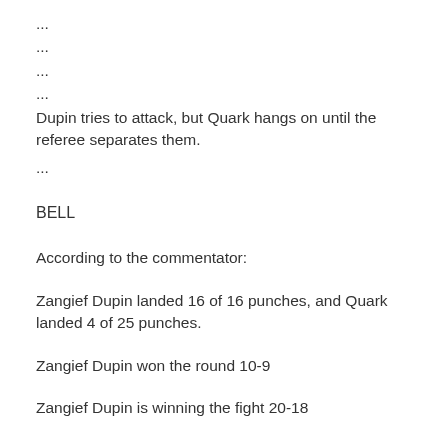...
...
...
...
Dupin tries to attack, but Quark hangs on until the referee separates them.
...
BELL
According to the commentator:
Zangief Dupin landed 16 of 16 punches, and Quark landed 4 of 25 punches.
Zangief Dupin won the round 10-9
Zangief Dupin is winning the fight 20-18